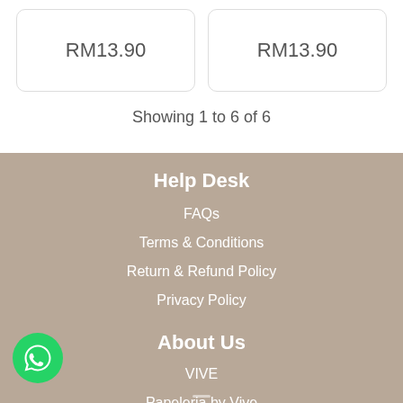RM13.90
RM13.90
Showing 1 to 6 of 6
Help Desk
FAQs
Terms & Conditions
Return & Refund Policy
Privacy Policy
About Us
VIVE
Papeleria by Vive